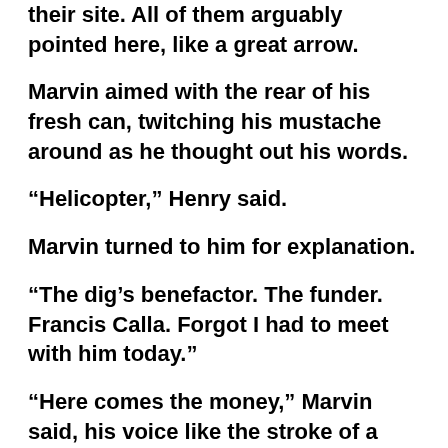their site. All of them arguably pointed here, like a great arrow.
Marvin aimed with the rear of his fresh can, twitching his mustache around as he thought out his words.
“Helicopter,” Henry said.
Marvin turned to him for explanation.
“The dig’s benefactor. The funder. Francis Calla. Forgot I had to meet with him today.”
“Here comes the money,” Marvin said, his voice like the stroke of a hand-saw against an old log. Marvin gestured his can now toward the dig, circling it. “You better practice your pitch on me.” Then he raised the drink half way to his lips and waited for Henry to begin speaking, his eyebrows raised, apparently unable to proceed until